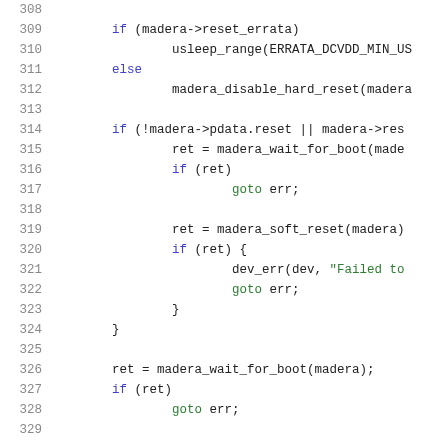[Figure (screenshot): Source code listing showing lines 308-329 of a C program with syntax highlighting. Line numbers in gray on left, keywords in blue/dark blue, string literals in green, regular code in dark/black monospace font.]